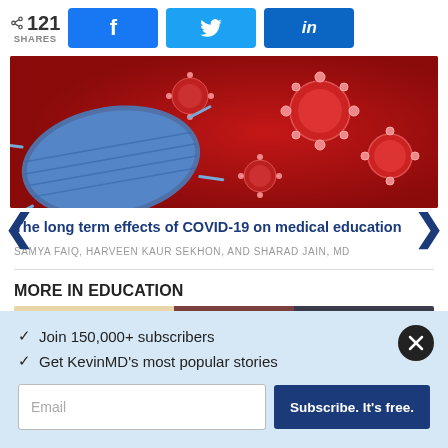121 SHARES — Facebook, Twitter, LinkedIn share buttons
[Figure (photo): Close-up photo of COVID-19 virus particles (red background with coronavirus spikes) and a blue medical face mask]
The long term effects of COVID-19 on medical education
SAMYA FAIQ, HARVEEN KAUR SEKHON, AND SHARAD JAIN, MD
MORE IN EDUCATION
[Figure (photo): Partial thumbnail strip showing article preview images]
✓  Join 150,000+ subscribers
✓  Get KevinMD's most popular stories